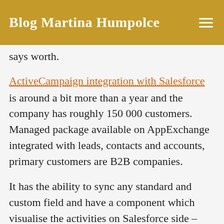Blog Martina Humpolce
says worth.
ActiveCampaign integration with Salesforce
is around a bit more than a year and the company has roughly 150 000 customers. Managed package available on AppExchange integrated with leads, contacts and accounts, primary customers are B2B companies.
It has the ability to sync any standard and custom field and have a component which visualise the activities on Salesforce side – completed automations, site tracking, email